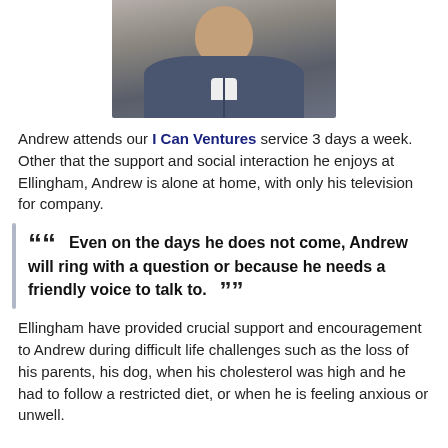[Figure (photo): Photograph of Andrew, a man wearing a dark blue/grey zip-up hoodie over a white shirt, cropped showing head and upper torso]
Andrew attends our I Can Ventures service 3 days a week.  Other that the support and social interaction he enjoys at Ellingham, Andrew is alone at home, with only his television for company.
““  Even on the days he does not come, Andrew will ring with a question or because he needs a friendly voice to talk to.  ””
Ellingham have provided crucial support and encouragement to Andrew during difficult life challenges such as the loss of his parents, his dog, when his cholesterol was high and he had to follow a restricted diet, or when he is feeling anxious or unwell.